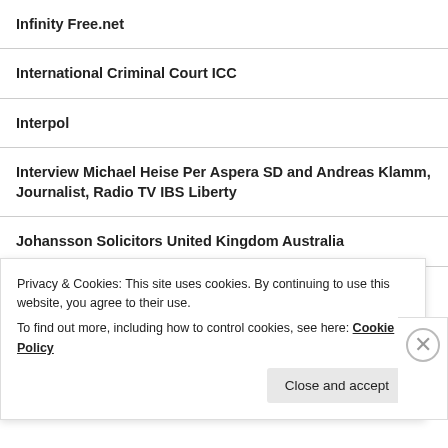Infinity Free.net
International Criminal Court ICC
Interpol
Interview Michael Heise Per Aspera SD and Andreas Klamm, Journalist, Radio TV IBS Liberty
Johansson Solicitors United Kingdom Australia
Jornalistas de 39 países aderem a abaixo-assinado em favor do Wikileaks e de seu fundador, Julian Assange
Privacy & Cookies: This site uses cookies. By continuing to use this website, you agree to their use.
To find out more, including how to control cookies, see here: Cookie Policy
Close and accept